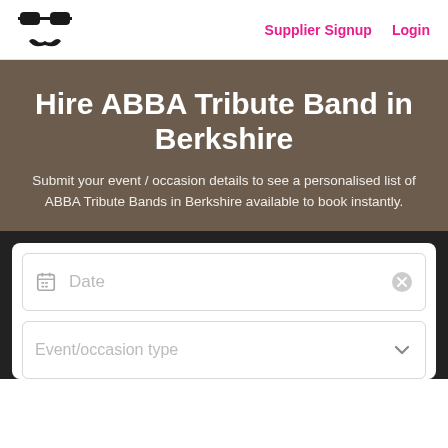Supplier Signup  Login
Hire ABBA Tribute Band in Berkshire
Submit your event / occasion details to see a personalised list of ABBA Tribute Bands in Berkshire available to book instantly.
[Figure (screenshot): Date input field with calendar icon and clear button]
[Figure (screenshot): Event/occasion type dropdown select field with chevron]